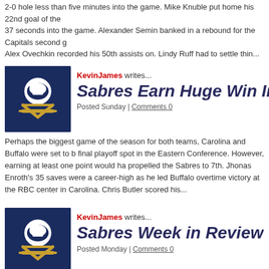2-0 hole less than five minutes into the game. Mike Knuble put home his 22nd goal of the 37 seconds into the game. Alexander Semin banked in a rebound for the Capitals second g Alex Ovechkin recorded his 50th assists on. Lindy Ruff had to settle thin...
KevinJames writes...
Sabres Earn Huge Win In Caroli
Posted Sunday | Comments 0
Perhaps the biggest game of the season for both teams, Carolina and Buffalo were set to b final playoff spot in the Eastern Conference. However, earning at least one point would ha propelled the Sabres to 7th. Jhonas Enroth's 35 saves were a career-high as he led Buffalo overtime victory at the RBC center in Carolina. Chris Butler scored his...
KevinJames writes...
Sabres Week in Review
Posted Monday | Comments 0
With another successful week of Buffalo Sabres hockey in the book, it is time for the Buf Week in Review! Games Played - 3/29/11 – Sabres fell to the Toronto Maple Leafs, 4-3. - Sabres defeated the New York Rangers, 1-0. - 4/2/11 – Sabres fell to the Washington Capi overtime. -4/3/11 – Sabres defeated the Carolina Hurricane...
airtsabes writes...
Stanley Cup contenders